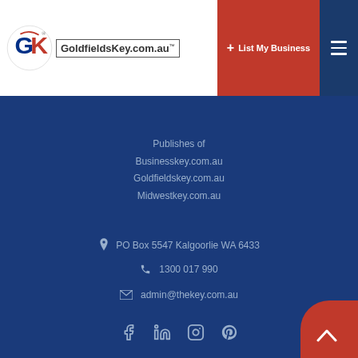GoldfieldsKey.com.au — List My Business navigation header
Publishes of
Businesskey.com.au
Goldfieldskey.com.au
Midwestkey.com.au
PO Box 5547 Kalgoorlie WA 6433
1300 017 990
admin@thekey.com.au
[Figure (logo): Social media icons: Facebook, LinkedIn, Instagram, Pinterest]